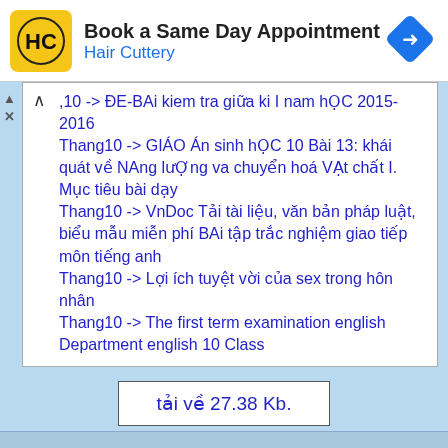[Figure (logo): Hair Cuttery advertisement banner with HC logo, text 'Book a Same Day Appointment' and 'Hair Cuttery', and a blue navigation icon]
10 -> ĐE-BAi kiem tra giữa ki I nam hỌC 2015-2016
Thang10 -> GIÁO Án sinh hỌC 10 Bài 13: khái quát về NAng lưỢng va chuyển hoá VẠt chất I. Mục tiêu bài dạy
Thang10 -> VnDoc Tải tài liệu, văn bản pháp luật, biểu mẫu miễn phí BAi tập trắc nghiệm giao tiếp môn tiếng anh
Thang10 -> Lợi ích tuyệt vời của sex trong hôn nhân
Thang10 -> The first term examination english Department english 10 Class
tải về 27.38 Kb.
Chia sẻ với bạn bè của bạn:
[Figure (infographic): Social media share icons: Facebook, Twitter, VK, Odnoklassniki, Telegram, Viber, WhatsApp, Pinterest]